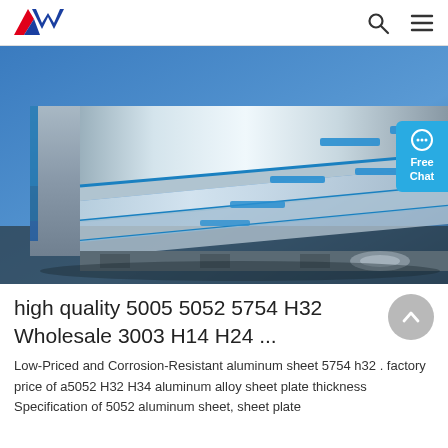AW logo, search icon, menu icon
[Figure (photo): Stacked aluminum sheet plates with blue edge tape, factory/warehouse setting]
high quality 5005 5052 5754 H32 Wholesale 3003 H14 H24 ...
Low-Priced and Corrosion-Resistant aluminum sheet 5754 h32 . factory price of a5052 H32 H34 aluminum alloy sheet plate thickness Specification of 5052 aluminum sheet, sheet plate